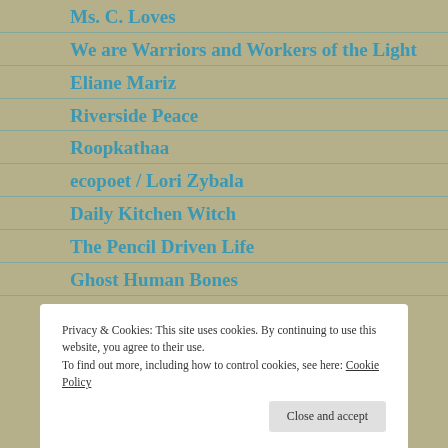Ms. C. Loves
We are Warriors and Workers of the Light
Eliane Mariz
Riverside Peace
Roopkathaa
ecopoet / Lori Zybala
Daily Kitchen Witch
The Pencil Driven Life
Ghost Human Bones
Privacy & Cookies: This site uses cookies. By continuing to use this website, you agree to their use.
To find out more, including how to control cookies, see here: Cookie Policy
Close and accept